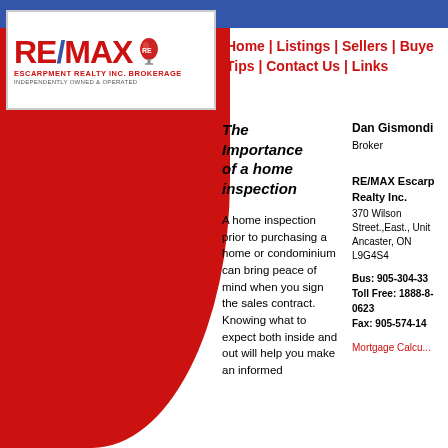[Figure (logo): RE/MAX Escarpment Realty Inc. Brokerage logo with red balloon, text INDEPENDENTLY OWNED & OPERATED]
Home | Listings | Sellers | Buyers Tips | Contact Us | Links
The Importance of a home inspection
A home inspection prior to purchasing a home or condominium can bring peace of mind when you sign the sales contract. Knowing what to expect both inside and out will help you make an informed
Dan Gismondi
Broker

RE/MAX Escarpment Realty Inc.
370 Wilson Street.,East., Unit
Ancaster, ON L9G4S4

Bus: 905-304-33
Toll Free: 1888-8-0623
Fax: 905-574-14
Mortgage Calcu...